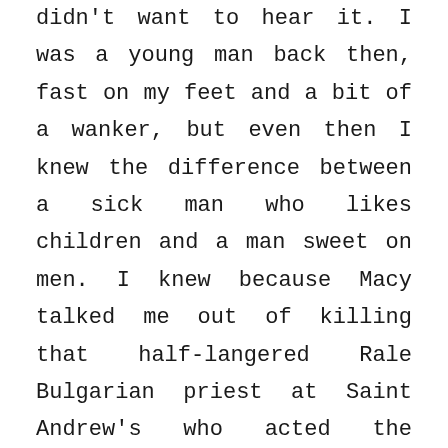didn't want to hear it. I was a young man back then, fast on my feet and a bit of a wanker, but even then I knew the difference between a sick man who likes children and a man sweet on men. I knew because Macy talked me out of killing that half-langered Rale Bulgarian priest at Saint Andrew's who acted the maggot with a lot of kids in the parish. I found out about him when Macy grew up and we started adding up crib notes on him. But Macy said, 'He's a sick man. Don't go to jail for